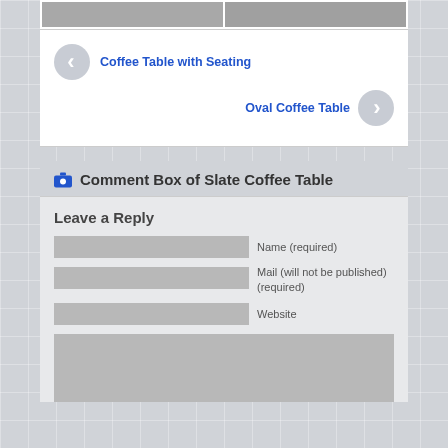[Figure (photo): Two partial thumbnail images of coffee tables at the top]
Coffee Table with Seating
Oval Coffee Table
Comment Box of Slate Coffee Table
Leave a Reply
Name (required)
Mail (will not be published) (required)
Website